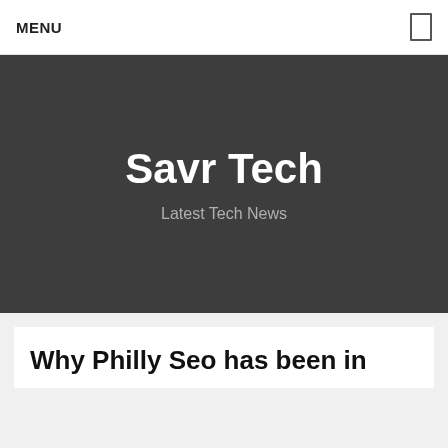MENU
Savr Tech
Latest Tech News
Why Philly Seo has been in